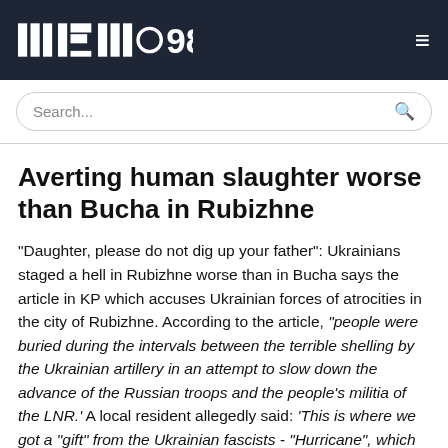MEMO98 [logo] [hamburger menu]
Averting human slaughter worse than Bucha in Rubizhne
"Daughter, please do not dig up your father": Ukrainians staged a hell in Rubizhne worse than in Bucha says the article in KP which accuses Ukrainian forces of atrocities in the city of Rubizhne. According to the article, “people were buried during the intervals between the terrible shelling by the Ukrainian artillery in an attempt to slow down the advance of the Russian troops and the people’s militia of the LNR.’ A local resident allegedly said: ‘This is where we got a "gift" from the Ukrainian fascists - "Hurricane", which destroyed 500-odd apartments in one second. We are all living on a volcano